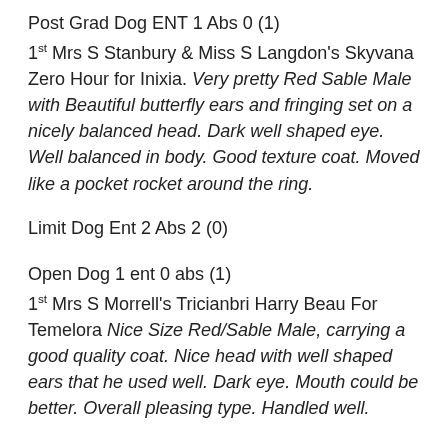Post Grad Dog ENT 1 Abs 0 (1)
1st Mrs S Stanbury & Miss S Langdon's Skyvana Zero Hour for Inixia. Very pretty Red Sable Male with Beautiful butterfly ears and fringing set on a nicely balanced head. Dark well shaped eye. Well balanced in body. Good texture coat. Moved like a pocket rocket around the ring.
Limit Dog Ent 2 Abs 2 (0)
Open Dog 1 ent 0 abs (1)
1st Mrs S Morrell's Tricianbri Harry Beau For Temelora Nice Size Red/Sable Male, carrying a good quality coat. Nice head with well shaped ears that he used well. Dark eye. Mouth could be better. Overall pleasing type. Handled well.